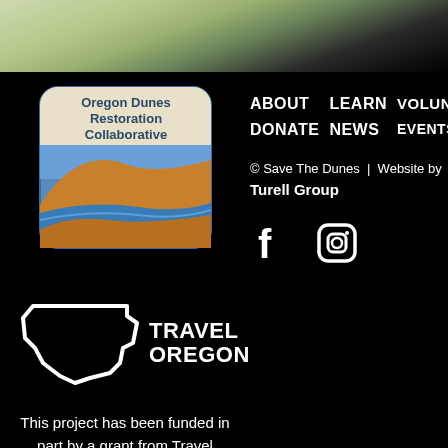[Figure (photo): Landscape photo strip at top showing sand dunes and vegetation]
[Figure (logo): Oregon Dunes Restoration Collaborative logo badge with dunes and water illustration]
[Figure (logo): Travel Oregon logo with white outline of Oregon state shape and TRAVEL OREGON text]
This project has been funded in part by a grant from Travel Oregon.
ABOUT
LEARN
VOLUNT
DONATE
NEWS
EVENTS
© Save The Dunes  |  Website by
Turell Group
[Figure (illustration): Facebook and Instagram social media icons in white]